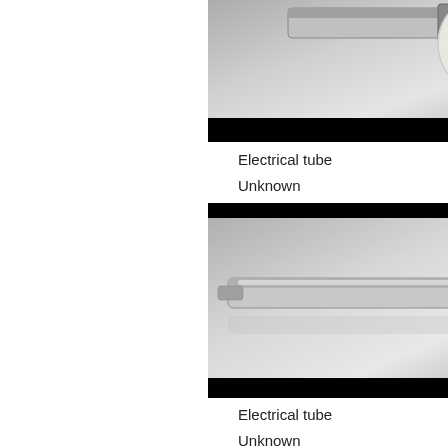[Figure (photo): Photograph of an electrical tube / bulb component, metallic silver with a white rounded end, on a grey background. Black bar at bottom of image.]
Electrical tube
Unknown
Unknown
View
[Figure (photo): Photograph of an electrical tube, cylindrical metallic silver tube with a connector end, lying on a grey reflective surface. Black bar at top and bottom of image.]
Electrical tube
Unknown
Unknown
View